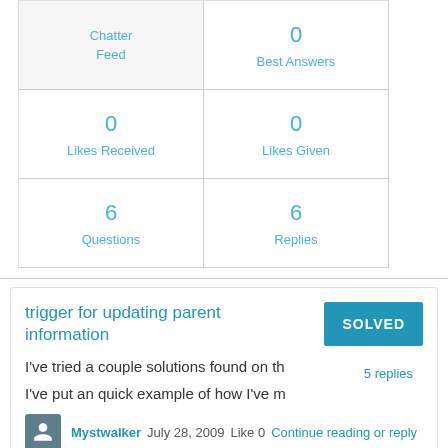| Chatter Feed | 0 Best Answers |
| --- | --- |
| 0 Likes Received | 0 Likes Given |
| 6 Questions | 6 Replies |
trigger for updating parent information
SOLVED
5 replies
I've tried a couple solutions found on th
I've put an quick example of how I've m
Mystwalker  July 28, 2009  Like 0  Continue reading or reply